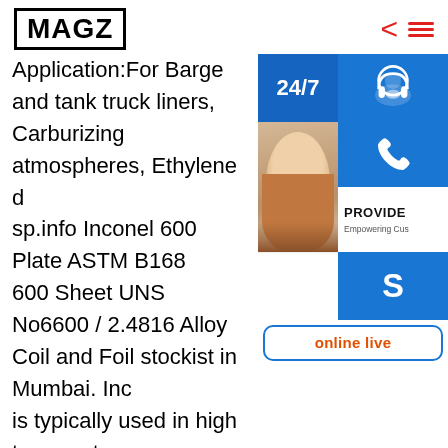MAGZ
Application:For Barge and tank truck liners, Carburizing atmospheres, Ethylene d... sp.info Inconel 600 Plate ASTM B168 600 Sheet UNS N06600 / 2.4816 Alloy Coil and Foil stockist in Mumbai. Inco... is typically used in high temperature Compared to most stainless steel allo... 600 Clad Plate made from Alloy 600 m... lose shape as easily when holding par... rigorous heat treat application. Cutting of UNS N06600 Plate is often done with a waterjet cu... sp.info Inconel Plate supplier and Alloy 718 S... 601 Coil/ 617 ASTM B168 Inconel Alloy Plate/Sheet Inconel 600 601 625 X-750 718 825;Italy
[Figure (infographic): Overlay UI panel with 24/7 label, customer service headset icon, phone icon, Skype icon, online live button, and a photo of a woman wearing a headset. Also includes a red circular gear/settings button at bottom left.]